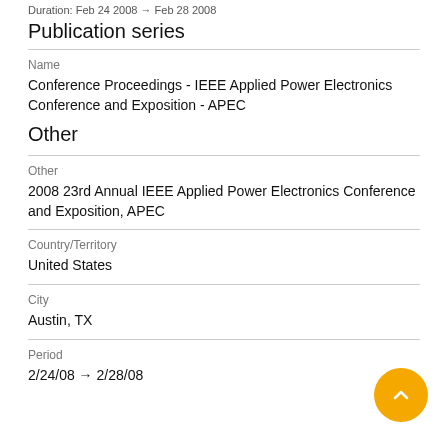Duration: Feb 24 2008 → Feb 28 2008
Publication series
Name
Conference Proceedings - IEEE Applied Power Electronics Conference and Exposition - APEC
Other
Other
2008 23rd Annual IEEE Applied Power Electronics Conference and Exposition, APEC
Country/Territory
United States
City
Austin, TX
Period
2/24/08 → 2/28/08